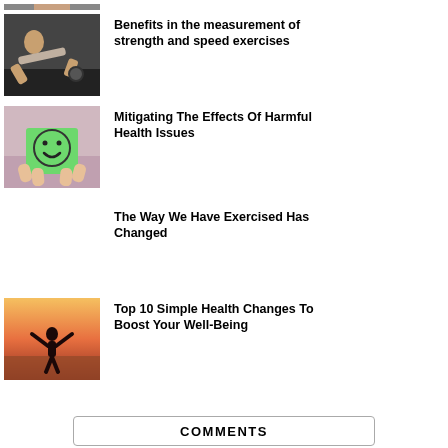[Figure (photo): Partial cropped image at top, person exercising]
[Figure (photo): Person doing push-up with dumbbell]
Benefits in the measurement of strength and speed exercises
[Figure (photo): Hands holding a green smiley face card]
Mitigating The Effects Of Harmful Health Issues
The Way We Have Exercised Has Changed
[Figure (photo): Person on beach with arms raised at sunset]
Top 10 Simple Health Changes To Boost Your Well-Being
COMMENTS